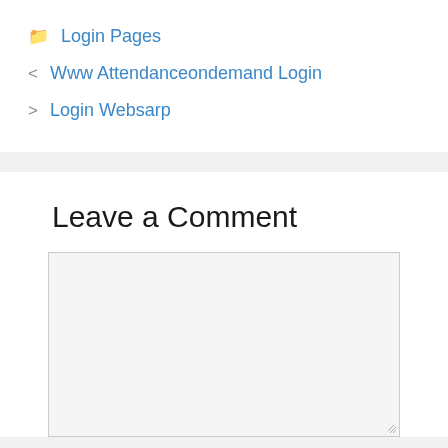Login Pages
Www Attendanceondemand Login
Login Websarp
Leave a Comment
[Figure (screenshot): Empty comment text area input box with light gray background and border, with a resize handle in the bottom right corner]